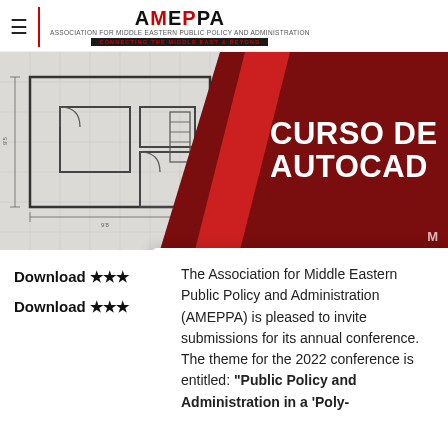AMEPPA — Association for Middle Eastern Public Policy and Administration
[Figure (illustration): Banner image showing an AutoCAD architectural floor plan blueprint on the left and a dark red panel on the right reading 'CURSO DE AUTOCAD' in large white bold text, with a red diagonal triangle separator.]
Download ★★★
Download ★★★
The Association for Middle Eastern Public Policy and Administration (AMEPPA) is pleased to invite submissions for its annual conference. The theme for the 2022 conference is entitled: "Public Policy and Administration in a 'Poly-"